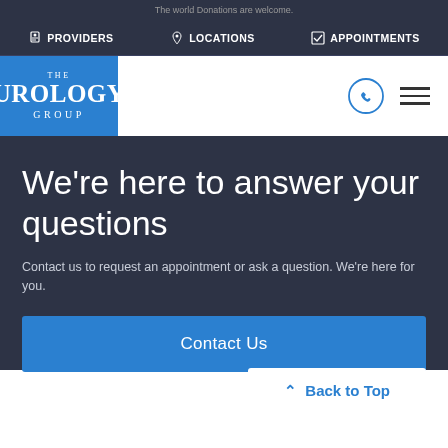The world Donations are welcome.
PROVIDERS   LOCATIONS   APPOINTMENTS
[Figure (logo): The Urology Group logo — white text on blue background]
We're here to answer your questions
Contact us to request an appointment or ask a question. We're here for you.
Contact Us
Back to Top